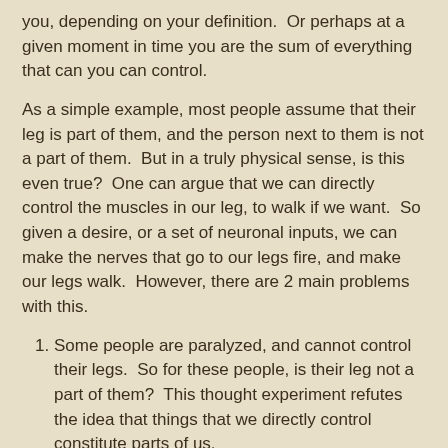you, depending on your definition.  Or perhaps at a given moment in time you are the sum of everything that can you can control.
As a simple example, most people assume that their leg is part of them, and the person next to them is not a part of them.  But in a truly physical sense, is this even true?  One can argue that we can directly control the muscles in our leg, to walk if we want.  So given a desire, or a set of neuronal inputs, we can make the nerves that go to our legs fire, and make our legs walk.  However, there are 2 main problems with this.
Some people are paralyzed, and cannot control their legs.  So for these people, is their leg not a part of them?  This thought experiment refutes the idea that things that we directly control constitute parts of us.
You can, if you desire, force the nerves to your hands to give the person next to you the middle finger, which will most likely make them walk (away), or perform some other action (kicking you comes to mind haha).